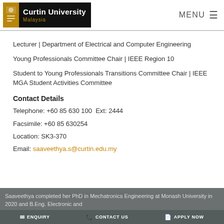Curtin University Malaysia | MENU
Lecturer | Department of Electrical and Computer Engineering
Young Professionals Committee Chair | IEEE Region 10
Student to Young Professionals Transitions Committee Chair | IEEE MGA Student Activities Committee
Contact Details
Telephone: +60 85 630 100  Ext: 2444
Facsimile: +60 85 630254
Location: SK3-370
Email: saaveethya.s@curtin.edu.my
Saaveethya completed her PhD in Mechatronics Engineering at Monash University in 2020 and B.Eng. Electronic and | ENQUIRY | CONTACT US | APPLY NOW